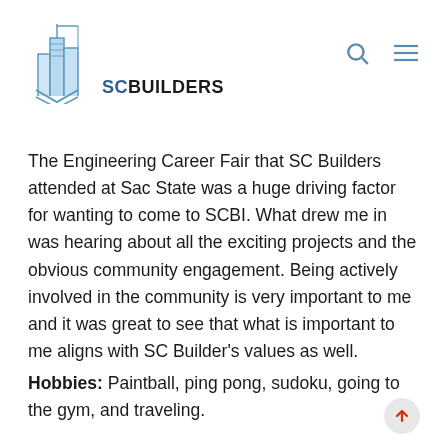[Figure (logo): SC Builders logo with building/skyscraper icon in blue and company name]
The Engineering Career Fair that SC Builders attended at Sac State was a huge driving factor for wanting to come to SCBI. What drew me in was hearing about all the exciting projects and the obvious community engagement. Being actively involved in the community is very important to me and it was great to see that what is important to me aligns with SC Builder’s values as well.
Hobbies: Paintball, ping pong, sudoku, going to the gym, and traveling.